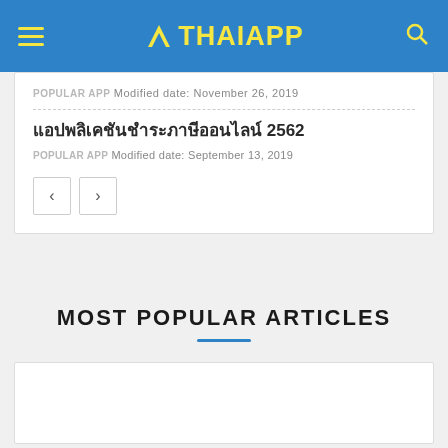THAIAPP
POPULAR APP  Modified date: November 26, 2019
แอปพลิเคชันชำระภาษีออนไลน์ 2562
POPULAR APP  Modified date: September 13, 2019
MOST POPULAR ARTICLES
[Figure (other): Empty white card placeholder for most popular articles section]